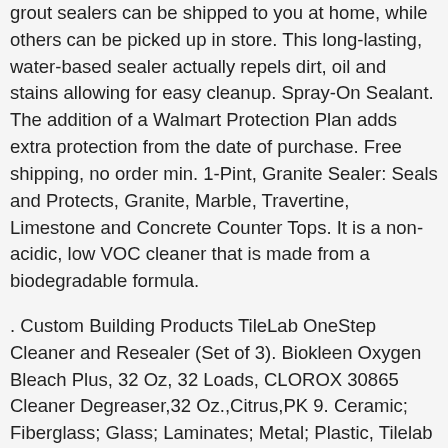grout sealers can be shipped to you at home, while others can be picked up in store. This long-lasting, water-based sealer actually repels dirt, oil and stains allowing for easy cleanup. Spray-On Sealant. The addition of a Walmart Protection Plan adds extra protection from the date of purchase. Free shipping, no order min. 1-Pint, Granite Sealer: Seals and Protects, Granite, Marble, Travertine, Limestone and Concrete Counter Tops. It is a non-acidic, low VOC cleaner that is made from a biodegradable formula.
. Custom Building Products TileLab OneStep Cleaner and Resealer (Set of 3). Biokleen Oxygen Bleach Plus, 32 Oz, 32 Loads, CLOROX 30865 Cleaner Degreaser,32 Oz.,Citrus,PK 9. Ceramic; Fiberglass; Glass; Laminates; Metal; Plastic, Tilelab Heavy-Duty Stone & Tile Stripper & Cleaner, Granite Gold Grout Cleaner With Brush, 24 Ounce, What others said when purchasing this item, If you would like to share feedback with us about pricing, delivery or other customer service issues, please contact. Even Safe for Colored Grout. You can view